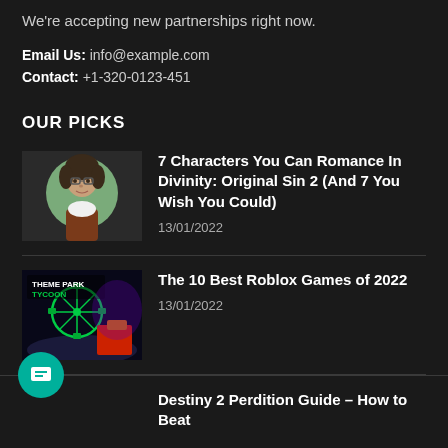We're accepting new partnerships right now.
Email Us: info@example.com
Contact: +1-320-0123-451
OUR PICKS
[Figure (illustration): Illustrated portrait of a character with dark hair and glasses on a green circular background, wearing a brown outfit with white collar]
7 Characters You Can Romance In Divinity: Original Sin 2 (And 7 You Wish You Could)
13/01/2022
[Figure (screenshot): Theme Park Tycoon game screenshot with colorful carnival rides and neon lighting, with 'THEME PARK TYCOON' text visible]
The 10 Best Roblox Games of 2022
13/01/2022
Destiny 2 Perdition Guide – How to Beat